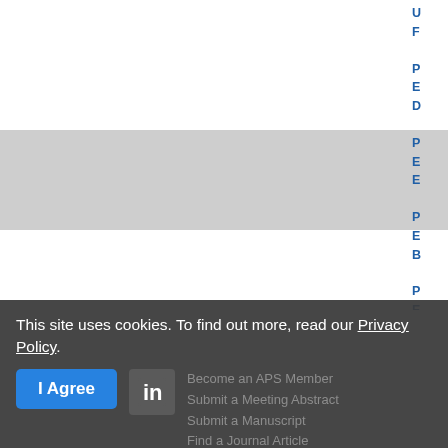[Figure (screenshot): Partial view of an APS (American Physical Society) journal/website page. Right-side navigation links partially visible showing initial letters: U, F, P, E, D, P, E, E, P, E, B, P, E, F, P. Two gray image placeholder boxes visible in the center-right area.]
This site uses cookies. To find out more, read our Privacy Policy.
I Agree
Become an APS Member
Submit a Meeting Abstract
Submit a Manuscript
Find a Journal Article